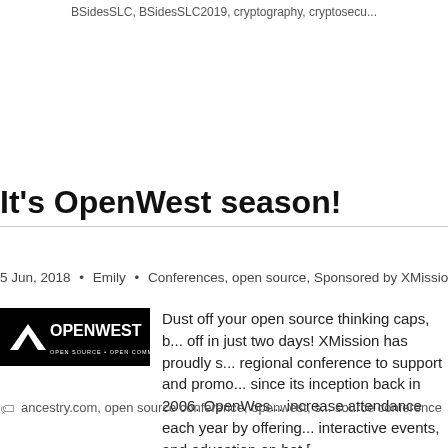BSidesSLC, BSidesSLC2019, cryptography, cryptosecu...
It's OpenWest season!
5 Jun, 2018 • Emily • Conferences, open source, Sponsored by XMission, Stuff We...
[Figure (logo): OpenWest conference logo — white text on black background]
Dust off your open source thinking caps, b... off in just two days! XMission has proudly s... regional conference to support and promo... since its inception back in 2006. OpenWes... increase attendance each year by offering... interactive events, and education on hot [...
ancestry.com, open source conference, openwest, s... source conference